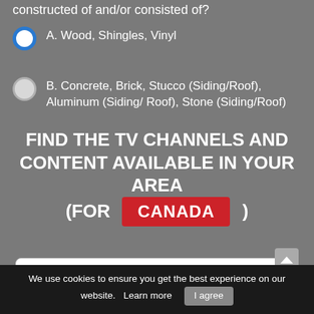constructed of and/or consisted of?
A. Wood, Shingles, Vinyl
B. Concrete, Brick, Stucco (Siding/Roof), Aluminum (Siding/ Roof), Stone (Siding/Roof)
FIND THE TV CHANNELS AND CONTENT AVAILABLE IN YOUR AREA (for CANADA )
Enter Street Address
Enter City
We use cookies to ensure you get the best experience on our website. Learn more I agree